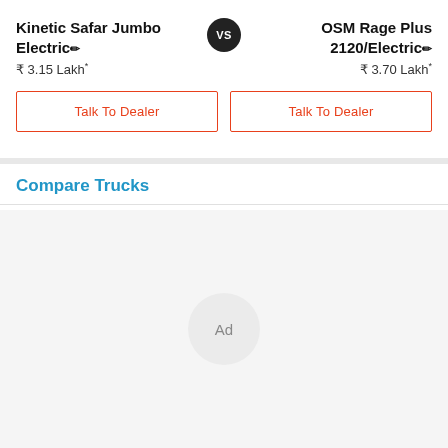Kinetic Safar Jumbo Electric ✏️
VS
OSM Rage Plus 2120/Electric ✏️
₹ 3.15 Lakh*
₹ 3.70 Lakh*
Talk To Dealer
Talk To Dealer
Compare Trucks
[Figure (other): Ad placeholder circle in a light grey area]